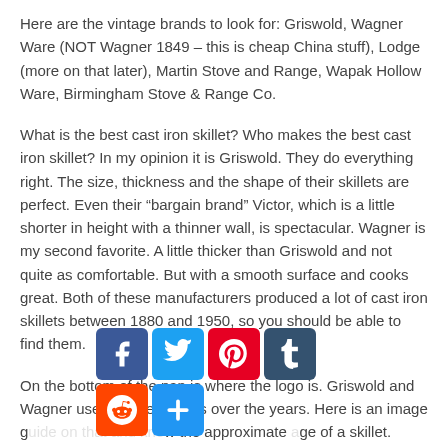Here are the vintage brands to look for: Griswold, Wagner Ware (NOT Wagner 1849 – this is cheap China stuff), Lodge (more on that later), Martin Stove and Range, Wapak Hollow Ware, Birmingham Stove & Range Co.
What is the best cast iron skillet? Who makes the best cast iron skillet? In my opinion it is Griswold. They do everything right. The size, thickness and the shape of their skillets are perfect. Even their “bargain brand” Victor, which is a little shorter in height with a thinner wall, is spectacular. Wagner is my second favorite. A little thicker than Griswold and not quite as comfortable. But with a smooth surface and cooks great. Both of these manufacturers produced a lot of cast iron skillets between 1880 and 1950, so you should be able to find them.
On the bottom of the pan is where the logo is. Griswold and Wagner used different logos over the years. Here is an image guide on that and know the approximate age of a skillet.
[Figure (infographic): Social sharing bar with icons for Facebook, Twitter, Pinterest, Tumblr, Reddit, and a share/plus button]